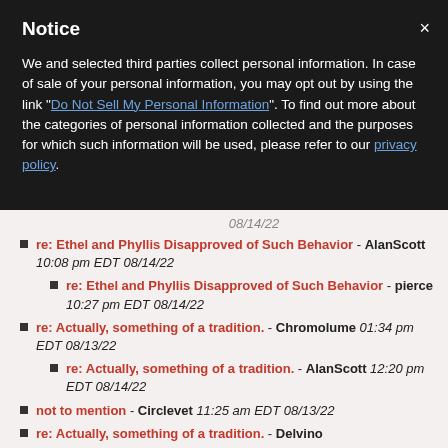Notice
We and selected third parties collect personal information. In case of sale of your personal information, you may opt out by using the link "Do Not Sell My Personal Information". To find out more about the categories of personal information collected and the purposes for which such information will be used, please refer to our privacy policy.
08/14/22
re: Ethel and Phyllis Disapproved of Such Behavior - AlanScott 10:08 pm EDT 08/14/22
re: Ethel and Phyllis Disapproved of Such Behavior - pierce 10:27 pm EDT 08/14/22
re: Actually, something of a tradition. - Chromolume 01:34 pm EDT 08/13/22
re: Actually, something of a tradition. - AlanScott 12:20 pm EDT 08/14/22
not to mention - Circlevet 11:25 am EDT 08/13/22
re: Actually, something of a tradition. - Delvino